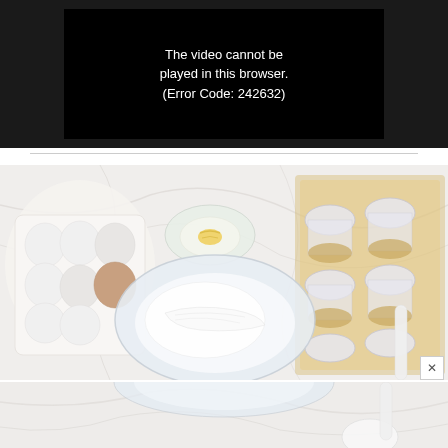[Figure (screenshot): Video player showing error message on dark background: 'The video cannot be played in this browser. (Error Code: 242632)']
[Figure (photo): Baking ingredients on a marble surface: egg carton with white and brown eggs, small glass bowl with lemon zest, large glass mixing bowl with cream cheese, and glass cups with graham cracker crust on a baking sheet]
[Figure (photo): Continuation of baking scene showing glass bowls on marble surface with baking ingredients]